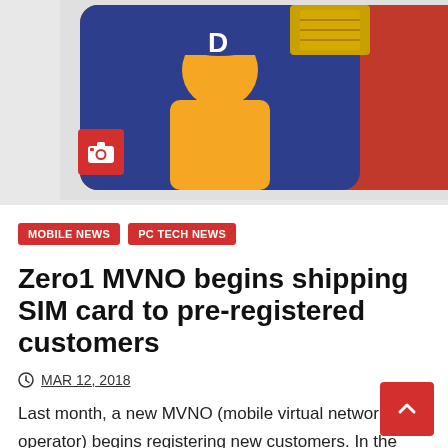[Figure (photo): SIM card image with a person graphic and camera icon overlay in the bottom left]
MOBILE NEWS    PC TECH NEWS
Zero1 MVNO begins shipping SIM card to pre-registered customers
MAR 12, 2018
Last month, a new MVNO (mobile virtual network operator) begins registering new customers. In the past few days, Zero1 has started to ship the SIM cards to the first 3000...